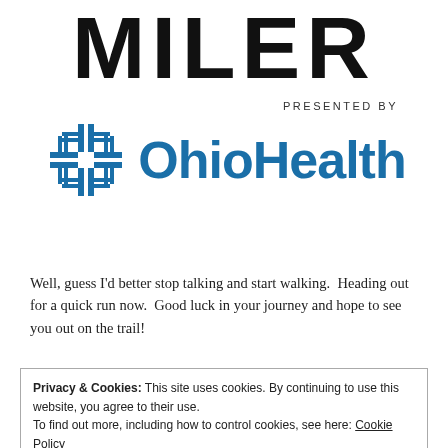MILER
[Figure (logo): OhioHealth logo with blue cross/grid icon and text 'PRESENTED BY OhioHealth']
Well, guess I'd better stop talking and start walking.  Heading out for a quick run now.  Good luck in your journey and hope to see you out on the trail!
Privacy & Cookies: This site uses cookies. By continuing to use this website, you agree to their use.
To find out more, including how to control cookies, see here: Cookie Policy
Close and accept